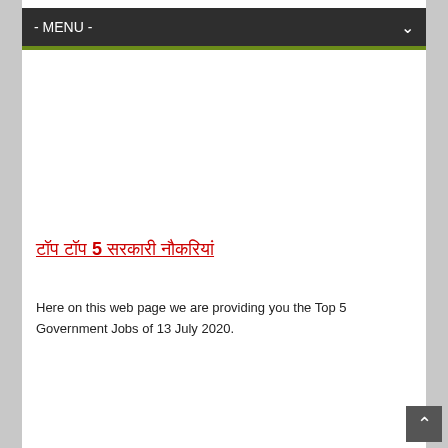- MENU -
टॉप 5 सरकारी नौकरियां
Here on this web page we are providing you the Top 5 Government Jobs of 13 July 2020.